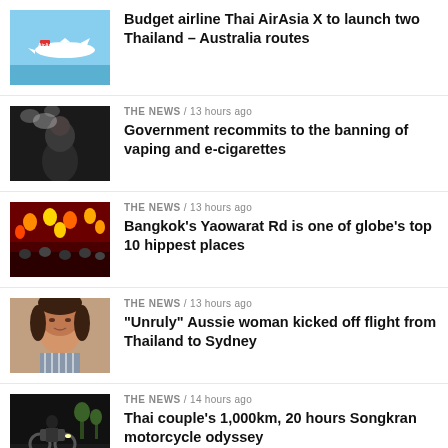[Figure (photo): Thai AirAsia X plane in sky with red logo]
Budget airline Thai AirAsia X to launch two Thailand – Australia routes
[Figure (photo): Person vaping with smoke cloud]
THE NEWS / 13 hours ago
Government recommits to the banning of vaping and e-cigarettes
[Figure (photo): Colorful lanterns at Yaowarat Rd Bangkok]
THE NEWS / 13 hours ago
Bangkok's Yaowarat Rd is one of globe's top 10 hippest places
[Figure (photo): Woman's face close-up]
THE NEWS / 13 hours ago
"Unruly" Aussie woman kicked off flight from Thailand to Sydney
[Figure (photo): Motorcycle rider on road at night]
THE NEWS / 14 hours ago
Thai couple's 1,000km, 20 hours Songkran motorcycle odyssey
[Figure (photo): Balinese monkeys in nature]
THE NEWS / 14 hours ago
Study: Balinese monkeys use stones to get their rocks off